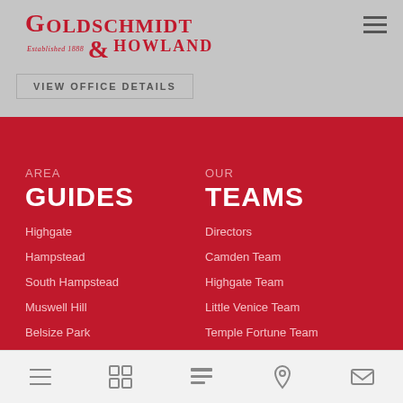Goldschmidt & Howland — Established 1888
VIEW OFFICE DETAILS
AREA GUIDES
Highgate
Hampstead
South Hampstead
Muswell Hill
Belsize Park
OUR TEAMS
Directors
Camden Team
Highgate Team
Little Venice Team
Temple Fortune Team
Navigation icons: list, grid, layout, location, email